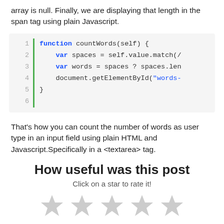array is null. Finally, we are displaying that length in the span tag using plain Javascript.
[Figure (screenshot): Code block showing a JavaScript function countWords(self) with line numbers 1-6, keyword highlighting, and a green left border bar.]
That's how you can count the number of words as user type in an input field using plain HTML and Javascript.Specifically in a <textarea> tag.
How useful was this post
Click on a star to rate it!
[Figure (other): Five empty (unfilled/grey) star rating icons in a row.]